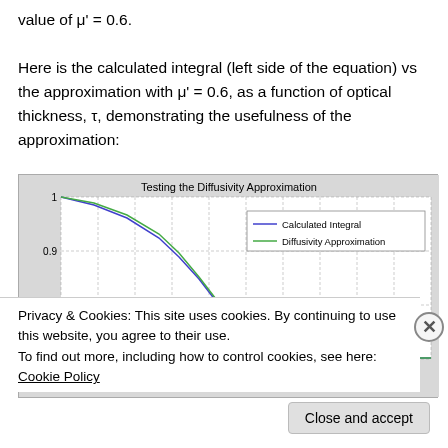value of μ' = 0.6.

Here is the calculated integral (left side of the equation) vs the approximation with μ' = 0.6, as a function of optical thickness, τ, demonstrating the usefulness of the approximation:
[Figure (line-chart): Testing the Diffusivity Approximation]
Privacy & Cookies: This site uses cookies. By continuing to use this website, you agree to their use.
To find out more, including how to control cookies, see here: Cookie Policy